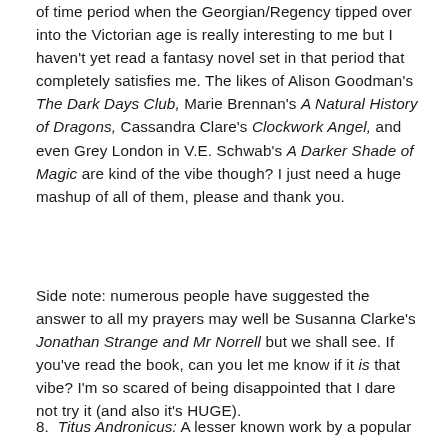of time period when the Georgian/Regency tipped over into the Victorian age is really interesting to me but I haven't yet read a fantasy novel set in that period that completely satisfies me. The likes of Alison Goodman's The Dark Days Club, Marie Brennan's A Natural History of Dragons, Cassandra Clare's Clockwork Angel, and even Grey London in V.E. Schwab's A Darker Shade of Magic are kind of the vibe though? I just need a huge mashup of all of them, please and thank you.
Side note: numerous people have suggested the answer to all my prayers may well be Susanna Clarke's Jonathan Strange and Mr Norrell but we shall see. If you've read the book, can you let me know if it is that vibe? I'm so scared of being disappointed that I dare not try it (and also it's HUGE).
8. Titus Andronicus: A lesser known work by a popular